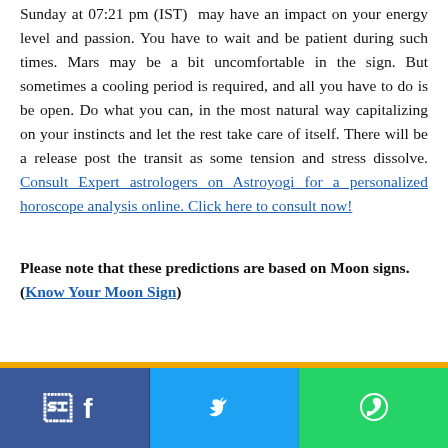Sunday at 07:21 pm (IST) may have an impact on your energy level and passion. You have to wait and be patient during such times. Mars may be a bit uncomfortable in the sign. But sometimes a cooling period is required, and all you have to do is be open. Do what you can, in the most natural way capitalizing on your instincts and let the rest take care of itself. There will be a release post the transit as some tension and stress dissolve. Consult Expert astrologers on Astroyogi for a personalized horoscope analysis online. Click here to consult now!
Please note that these predictions are based on Moon signs. (Know Your Moon Sign)
[Figure (other): Social media share bar with Facebook (blue), Twitter (light blue), and WhatsApp (green) buttons each with their respective icons]